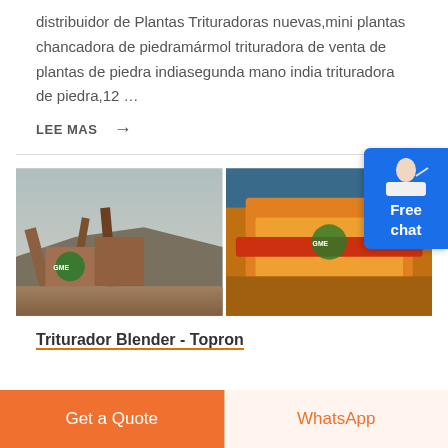distribuidor de Plantas Trituradoras nuevas,mini plantas chancadora de piedramármol trituradora de venta de plantas de piedra indiasegunda mano india trituradora de piedra,12 …
LEE MAS →
[Figure (photo): Industrial stone crushing plant with conveyor belts and machinery on a mountainside]
[Figure (photo): Yellow and red industrial vibrating screen / sieving equipment]
Triturador Blender - Topron
[Figure (other): Free chat button widget (blue rounded button with figure of woman)]